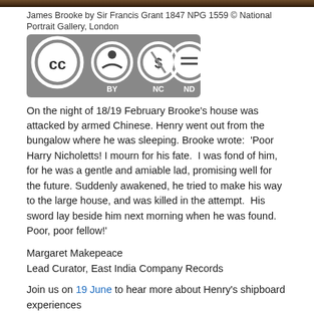[Figure (photo): Top strip showing a dark/brown portrait painting background]
James Brooke by Sir Francis Grant 1847 NPG 1559 © National Portrait Gallery, London
[Figure (logo): Creative Commons BY-NC-ND license badge with four circular icons on grey background]
On the night of 18/19 February Brooke's house was attacked by armed Chinese. Henry went out from the bungalow where he was sleeping. Brooke wrote:  'Poor Harry Nicholetts! I mourn for his fate.  I was fond of him, for he was a gentle and amiable lad, promising well for the future. Suddenly awakened, he tried to make his way to the large house, and was killed in the attempt.  His sword lay beside him next morning when he was found. Poor, poor fellow!'
Margaret Makepeace
Lead Curator, East India Company Records
Join us on 19 June to hear more about Henry's shipboard experiences